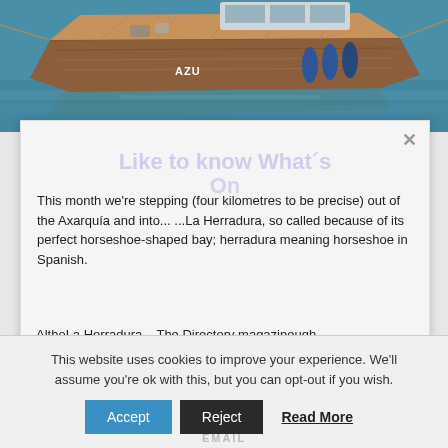[Figure (photo): A wooden boat named 'AZU' moored in a harbour with blue water, viewed from above and behind.]
[Figure (screenshot): A modal popup with a close (×) button, a semi-transparent title 'Like to know What´s On' overlaid, and article text about La Herradura below it.]
This month we're stepping (four kilometres to be precise) out of the Axarquía and into... ...La Herradura, so called because of its perfect horseshoe-shaped bay; herradura meaning horseshoe in Spanish.
AlthoLa Herradura – The Directory magazineugh the pretty village of the town, at time of back d...
This website uses cookies to improve your experience. We'll assume you're ok with this, but you can opt-out if you wish.
Accept  Reject  Read More
EMAIL